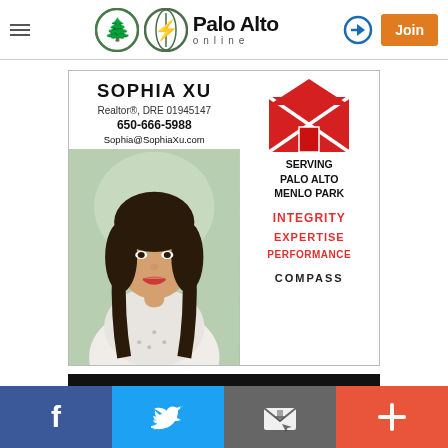Palo Alto online
[Figure (screenshot): Advertisement for Sophia Xu, Realtor. Shows her photo, name, contact info (DRE 01945147, 650-666-5988, Sophia@SophiaXu.com), red house logo, text: SERVING PALO ALTO MENLO PARK, INTEGRITY, EXPERTISE, PERFORMANCE, COMPASS]
3830 Louis Road, Palo Alto
[Figure (infographic): Social media share bar with Facebook, Twitter, Email, and Plus buttons]